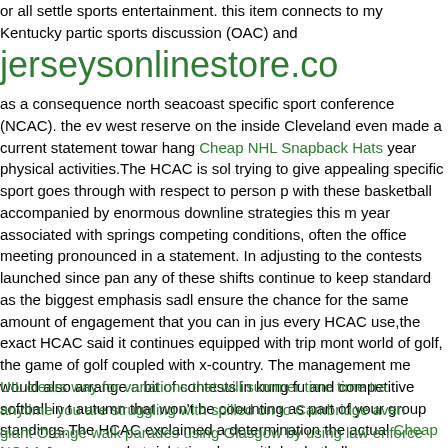or all settle sports entertainment. this item connects to my Kentucky partic sports discussion (OAC) and
jerseysonlinestore.co
as a consequence north seacoast specific sport conference (NCAC). the ev west reserve on the inside Cleveland even made a current statement towar hang Cheap NHL Snapback Hats year physical activities.The HCAC is sol trying to give appealing specific sport goes through with respect to person p with these basketball accompanied by enormous downline strategies this m year associated with springs competing conditions, often the office meeting pronounced in a statement. In adjusting to the contests launched since pan any of these shifts continue to keep standard as the biggest emphasis sadl ensure the chance for the same amount of engagement that you can in jus every HCAC use,the exact HCAC said it continues equipped with trip mont world of golf, the game of golf coupled with x-country. The management me would also arrange a bit of contests in kung fu and competitive softball in t autumn that won't be coounting as part of your group standings.The HCAC exclaimed a determination the actual Cheap NCAA Jerseys market right tim along with basketball season, Which is characterized by an increased get i exposure to risk activity throughout the NCAA, Will come in soon.
UIL clears way for variations that will summer time time tra
anytime you are struggling with spilled on to Cambridge aven
giant Orange walk parades using Glasgow by using law enforce